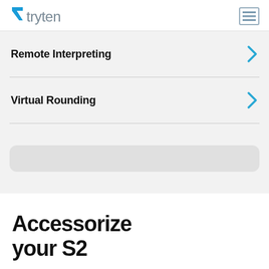tryten
Remote Interpreting
Virtual Rounding
[Figure (other): Grey rounded rectangle bar element at the bottom of the navigation section]
Accessorize your S2